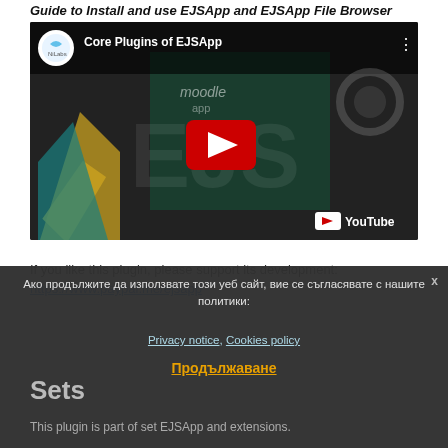Guide to Install and use EJSApp and EJSApp File Browser
[Figure (screenshot): YouTube video thumbnail for 'Core Plugins of EJSApp' on the NiLabs channel, showing EJS text, moodle app, gear, arrows, and a red YouTube play button overlay]
If you like this plugin, please support its development:
https://www.paypal.me/ejsapp
Ако продължите да използвате този уеб сайт, вие се съгласявате с нашите политики:
Privacy notice, Cookies policy
Продължаване
Sets
This plugin is part of set EJSApp and extensions.